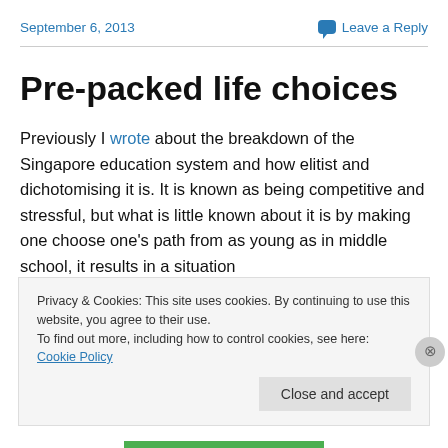September 6, 2013
Leave a Reply
Pre-packed life choices
Previously I wrote about the breakdown of the Singapore education system and how elitist and dichotomising it is. It is known as being competitive and stressful, but what is little known about it is by making one choose one's path from as young as in middle school, it results in a situation
Privacy & Cookies: This site uses cookies. By continuing to use this website, you agree to their use.
To find out more, including how to control cookies, see here: Cookie Policy
Close and accept